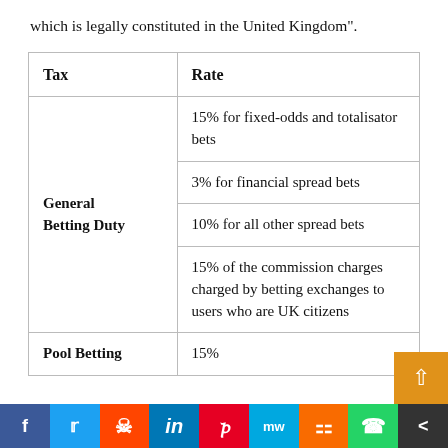which is legally constituted in the United Kingdom".
| Tax | Rate |
| --- | --- |
| General Betting Duty | 15% for fixed-odds and totalisator bets |
| General Betting Duty | 3% for financial spread bets |
| General Betting Duty | 10% for all other spread bets |
| General Betting Duty | 15% of the commission charges charged by betting exchanges to users who are UK citizens |
| Pool Betting | 15% |
Social share bar: Facebook, Twitter, Reddit, LinkedIn, Pinterest, MeWe, Mix, WhatsApp, Share